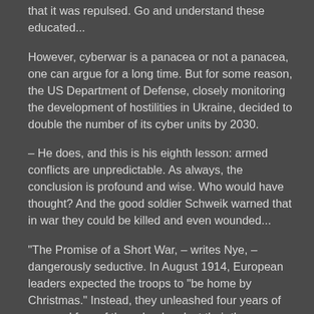that it was repulsed. Go and understand these educated...
However, cyberwar is a panacea or not a panacea, one can argue for a long time. But for some reason, the US Department of Defense, closely monitoring the development of hostilities in Ukraine, decided to double the number of its cyber units by 2030.
– He does, and this is his eighth lesson: armed conflicts are unpredictable. As always, the conclusion is profound and wise. Who would have thought? And the good soldier Schweik warned that in war they could be killed and even wounded...
“The Promise of a Short War, – writes Nye, – dangerously seductive. In August 1914, European leaders expected the troops to “be home by Christmas.” Instead, they unleashed four years of war, and four of these leaders lost their thrones. Immediately after the American invasion of Iraq in 2003, many in Washington predicted an easy ride, but the effort